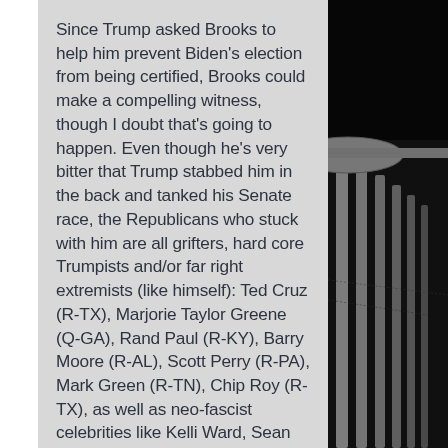Since Trump asked Brooks to help him prevent Biden's election from being certified, Brooks could make a compelling witness, though I doubt that's going to happen. Even though he's very bitter that Trump stabbed him in the back and tanked his Senate race, the Republicans who stuck with him are all grifters, hard core Trumpists and/or far right extremists (like himself): Ted Cruz (R-TX), Marjorie Taylor Greene (Q-GA), Rand Paul (R-KY), Barry Moore (R-AL), Scott Perry (R-PA), Mark Green (R-TN), Chip Roy (R-TX), as well as neo-fascist celebrities like Kelli Ward, Sean Hannity, Ann Coulter, Mark Levin, Charlie Kirk... Most of them are far from ready to shut down Trump. No
[Figure (photo): Black and white photograph of the US Capitol building dome/rotunda columns on the right side of the image, against a dark background.]